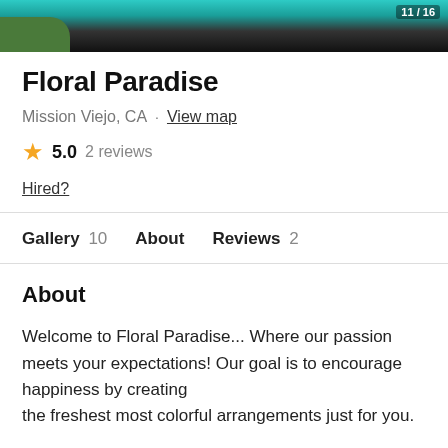[Figure (photo): Top image strip showing a floral or outdoor scene with teal/green and dark tones, with a page counter overlay showing 11/16]
Floral Paradise
Mission Viejo, CA · View map
★ 5.0  2 reviews
Hired?
Gallery 10    About    Reviews 2
About
Welcome to Floral Paradise... Where our passion meets your expectations! Our goal is to encourage happiness by creating the freshest most colorful arrangements just for you.